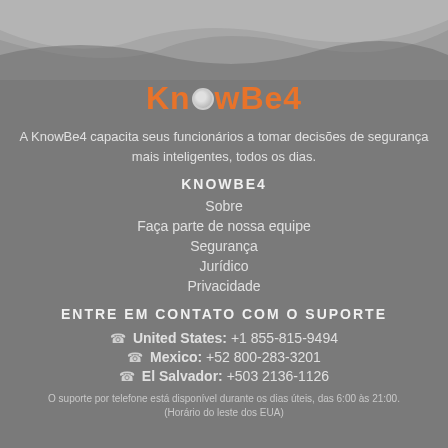[Figure (logo): KnowBe4 logo with orange text and white circle replacing the letter 'o']
A KnowBe4 capacita seus funcionários a tomar decisões de segurança mais inteligentes, todos os dias.
KNOWBE4
Sobre
Faça parte de nossa equipe
Segurança
Jurídico
Privacidade
ENTRE EM CONTATO COM O SUPORTE
United States: +1 855-815-9494
Mexico: +52 800-283-3201
El Salvador: +503 2136-1126
O suporte por telefone está disponível durante os dias úteis, das 6:00 às 21:00. (Horário do leste dos EUA)